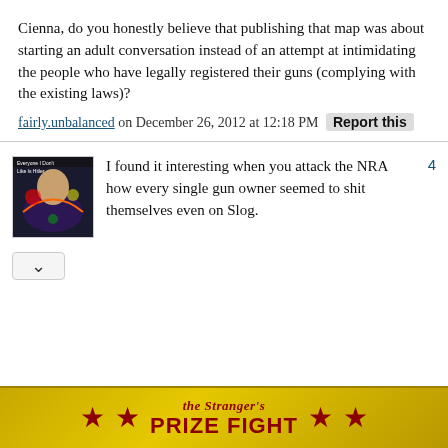Cienna, do you honestly believe that publishing that map was about starting an adult conversation instead of an attempt at intimidating the people who have legally registered their guns (complying with the existing laws)?
fairly.unbalanced on December 26, 2012 at 12:18 PM  Report this
I found it interesting when you attack the NRA how every single gun owner seemed to shit themselves even on Slog.
[Figure (photo): Small square avatar image of a person in colorful clothing with a rainbow background, with text overlay.]
[Figure (infographic): The Stranger's Prize Fight banner advertisement with gold/yellow background, red stars, and red text reading 'the Stranger's PRIZE FIGHT'.]